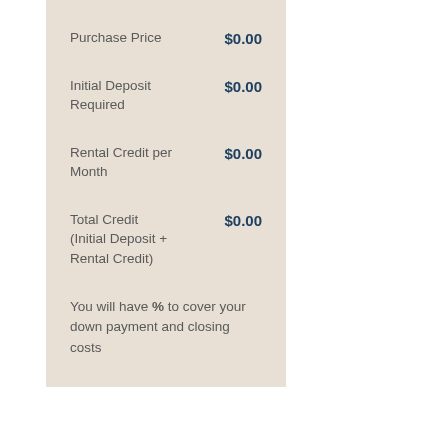Purchase Price $0.00
Initial Deposit Required $0.00
Rental Credit per Month $0.00
Total Credit (Initial Deposit + Rental Credit) $0.00
You will have % to cover your down payment and closing costs